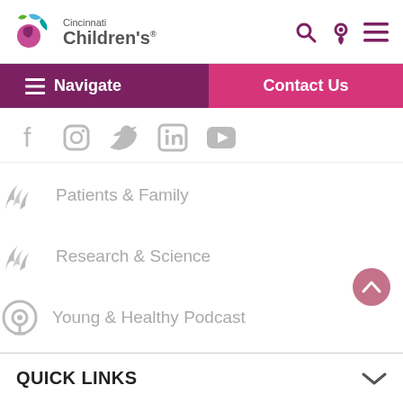[Figure (logo): Cincinnati Children's hospital logo with colorful circular icon and text]
Navigate | Contact Us
[Figure (infographic): Social media icons: Facebook, Instagram, Twitter, LinkedIn, YouTube - all in gray]
Patients & Family
Research & Science
Young & Healthy Podcast
QUICK LINKS